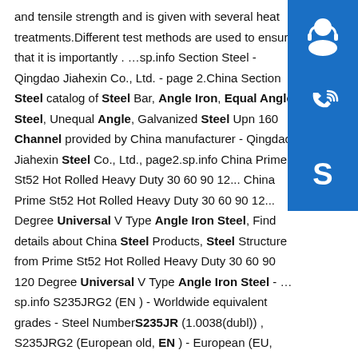and tensile strength and is given with several heat treatments.Different test methods are used to ensure that it is importantly . …sp.info Section Steel - Qingdao Jiahexin Co., Ltd. - page 2.China Section Steel catalog of Steel Bar, Angle Iron, Equal Angle Steel, Unequal Angle, Galvanized Steel Upn 160 Channel provided by China manufacturer - Qingdao Jiahexin Steel Co., Ltd., page2.sp.info China Prime St52 Hot Rolled Heavy Duty 30 60 90 12... China Prime St52 Hot Rolled Heavy Duty 30 60 90 12... Degree Universal V Type Angle Iron Steel, Find details about China Steel Products, Steel Structure from Prime St52 Hot Rolled Heavy Duty 30 60 90 120 Degree Universal V Type Angle Iron Steel - …sp.info S235JRG2 (EN ) - Worldwide equivalent grades - Steel NumberS235JR (1.0038(dubl)) , S235JRG2 (European old, EN ) - European (EU, EN) and
[Figure (illustration): Three blue square buttons stacked vertically on the right side. Top button shows a headset/customer service icon. Middle button shows a phone/call icon. Bottom button shows a Skype logo icon.]